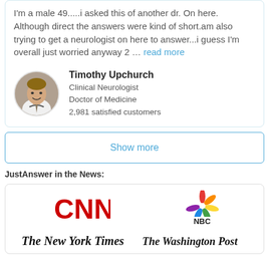I'm a male 49.....i asked this of another dr. On here. Although direct the answers were kind of short.am also trying to get a neurologist on here to answer...i guess I'm overall just worried anyway 2 … read more
Timothy Upchurch
Clinical Neurologist
Doctor of Medicine
2,981 satisfied customers
Show more
JustAnswer in the News:
[Figure (logo): CNN logo (red letters), NBC peacock logo with NBC text below]
[Figure (logo): The New York Times logo and The Washington Post logo in blackletter/serif fonts]